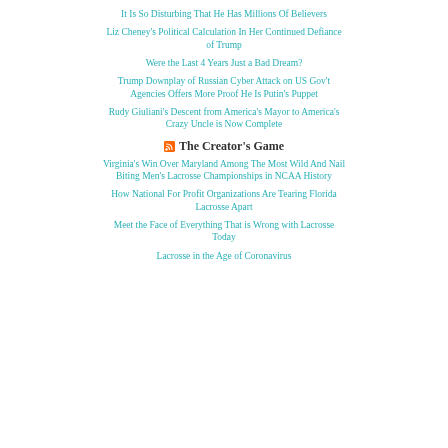It Is So Disturbing That He Has Millions Of Believers
Liz Cheney's Political Calculation In Her Continued Defiance of Trump
Were the Last 4 Years Just a Bad Dream?
Trump Downplay of Russian Cyber Attack on US Gov't Agencies Offers More Proof He Is Putin's Puppet
Rudy Giuliani's Descent from America's Mayor to America's Crazy Uncle is Now Complete
The Creator's Game
Virginia's Win Over Maryland Among The Most Wild And Nail Biting Men's Lacrosse Championships in NCAA History
How National For Profit Organizations Are Tearing Florida Lacrosse Apart
Meet the Face of Everything That is Wrong with Lacrosse Today
Lacrosse in the Age of Coronavirus